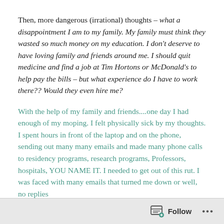Then, more dangerous (irrational) thoughts – what a disappointment I am to my family. My family must think they wasted so much money on my education. I don't deserve to have loving family and friends around me. I should quit medicine and find a job at Tim Hortons or McDonald's to help pay the bills – but what experience do I have to work there?? Would they even hire me?
With the help of my family and friends....one day I had enough of my moping. I felt physically sick by my thoughts. I spent hours in front of the laptop and on the phone, sending out many many emails and made many phone calls to residency programs, research programs, Professors, hospitals, YOU NAME IT. I needed to get out of this rut. I was faced with many emails that turned me down or well, no replies
Follow